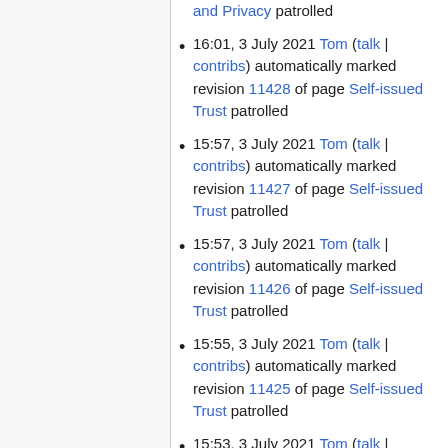and Privacy patrolled
16:01, 3 July 2021 Tom (talk | contribs) automatically marked revision 11428 of page Self-issued Trust patrolled
15:57, 3 July 2021 Tom (talk | contribs) automatically marked revision 11427 of page Self-issued Trust patrolled
15:57, 3 July 2021 Tom (talk | contribs) automatically marked revision 11426 of page Self-issued Trust patrolled
15:55, 3 July 2021 Tom (talk | contribs) automatically marked revision 11425 of page Self-issued Trust patrolled
15:53, 3 July 2021 Tom (talk | contribs) automatically marked revision 11424 of page Self-issued